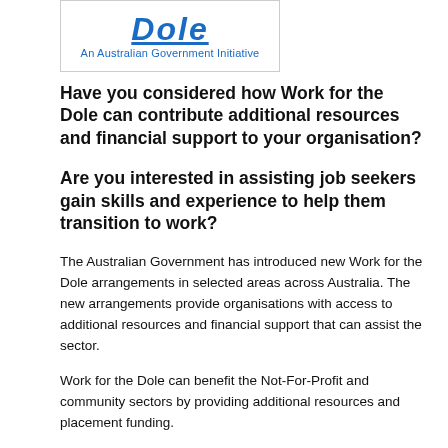[Figure (logo): Work for the Dole logo - bold blue italic text 'Dole' with underline, subtitle 'An Australian Government Initiative', surrounded by a rectangular border]
Have you considered how Work for the Dole can contribute additional resources and financial support to your organisation?
Are you interested in assisting job seekers gain skills and experience to help them transition to work?
The Australian Government has introduced new Work for the Dole arrangements in selected areas across Australia. The new arrangements provide organisations with access to additional resources and financial support that can assist the sector.
Work for the Dole can benefit the Not-For-Profit and community sectors by providing additional resources and placement funding.
By becoming a Host Organisation you will not only